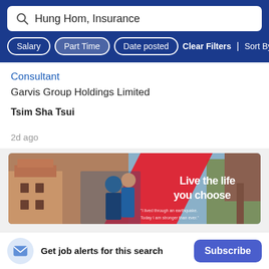[Figure (screenshot): Search bar with text 'Hung Hom, Insurance']
[Figure (screenshot): Filter buttons: Salary, Part Time, Date posted, Clear Filters, Sort By Rele]
Consultant
Garvis Group Holdings Limited
Tsim Sha Tsui
2d ago
[Figure (photo): Advertisement banner showing a couple in front of historic buildings with text 'Live the life you choose' and small text 'I lived through an earthquake. Today I am stronger than ever.']
Get job alerts for this search
Subscribe